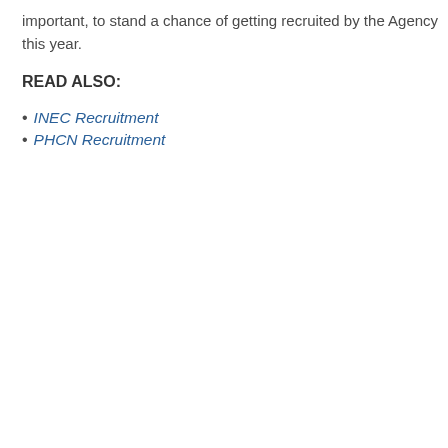important, to stand a chance of getting recruited by the Agency this year.
READ ALSO:
INEC Recruitment
PHCN Recruitment